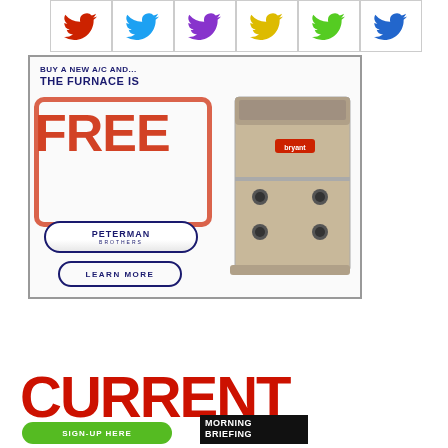[Figure (illustration): Row of colorful Twitter bird icons in red, blue, purple, yellow, green, and teal/blue colors arranged in a grid row with cell borders]
[Figure (illustration): Advertisement for Peterman Brothers HVAC company. Text reads: BUY A NEW A/C AND... THE FURNACE IS FREE. Features a Bryant furnace unit image on the right, Peterman Brothers logo, and LEARN MORE button. Red stamp-style border around FREE text.]
[Figure (illustration): Current Morning Briefing newsletter signup. Large red CURRENT text logo, green SIGN-UP HERE button, and black MORNING BRIEFING badge.]